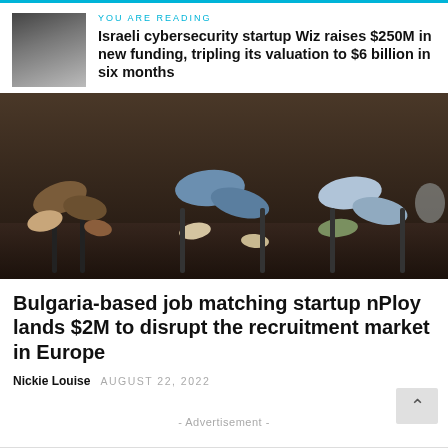YOU ARE READING
Israeli cybersecurity startup Wiz raises $250M in new funding, tripling its valuation to $6 billion in six months
[Figure (photo): People seated in chairs, showing only their legs and feet, waiting in a row]
Bulgaria-based job matching startup nPloy lands $2M to disrupt the recruitment market in Europe
Nickie Louise   AUGUST 22, 2022
- Advertisement -